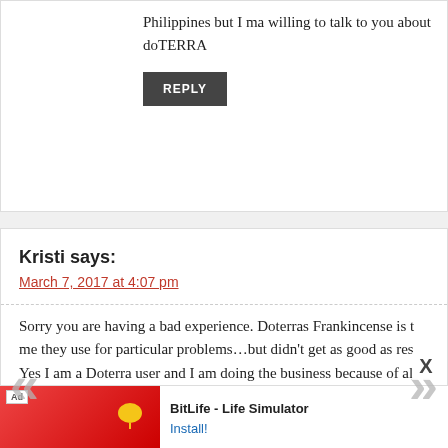Philippines but I ma willing to talk to you about doTERRA
REPLY
Kristi says:
March 7, 2017 at 4:07 pm
Sorry you are having a bad experience. Doterras Frankincense is t me they use for particular problems…but didn't get as good as res Yes I am a Doterra user and I am doing the business because of al can have a wholesale account with them without having to sell, or multilevel perks. Less than 10% of Doterra wholesale account peo And no one should be pushing you to do anything. If you have tha will hold classes for anyone who wants to simply learn more abou people chose to have classes in their homes just so they can let th about the oils….but no one should be pushing you to do it…
[Figure (screenshot): BitLife - Life Simulator app advertisement banner at bottom of page]